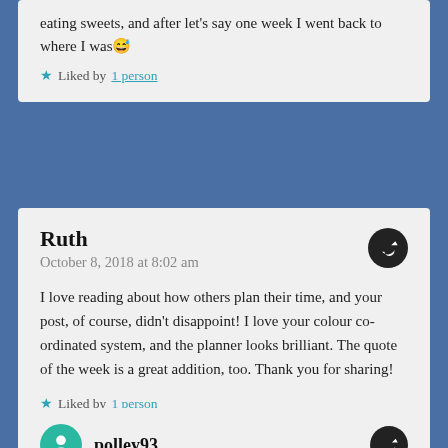eating sweets, and after let's say one week I went back to where I was 😅
★ Liked by 1 person
Ruth
October 8, 2018 at 8:02 am
I love reading about how others plan their time, and your post, of course, didn't disappoint! I love your colour co-ordinated system, and the planner looks brilliant. The quote of the week is a great addition, too. Thank you for sharing!
★ Liked by 1 person
polley93